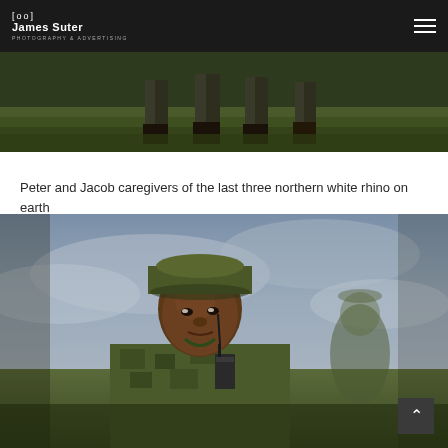James Suter - Photography & Advertising
[Figure (photo): Bottom half of people standing in grass field, showing boots and lower legs in military/outdoor attire]
Peter and Jacob caregivers of the last three northern white rhino on earth
[Figure (photo): Close-up portrait of a man in camouflage military uniform and olive bucket hat, with a radio/walkie-talkie, another soldier blurred in background. Overcast sky behind them.]